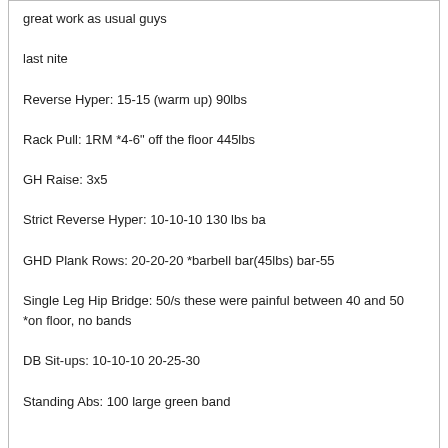great work as usual guys

last nite

Reverse Hyper: 15-15 (warm up) 90lbs

Rack Pull: 1RM *4-6" off the floor 445lbs

GH Raise: 3x5

Strict Reverse Hyper: 10-10-10 130 lbs ba

GHD Plank Rows: 20-20-20 *barbell bar(45lbs) bar-55

Single Leg Hip Bridge: 50/s these were painful between 40 and 50 *on floor, no bands

DB Sit-ups: 10-10-10 20-25-30

Standing Abs: 100 large green band

hope all you guys have a safe and happy new years eve tonite and that your 2015 is even better than your 2014.
JT Kalnay  12-31-2014 11:32 AM